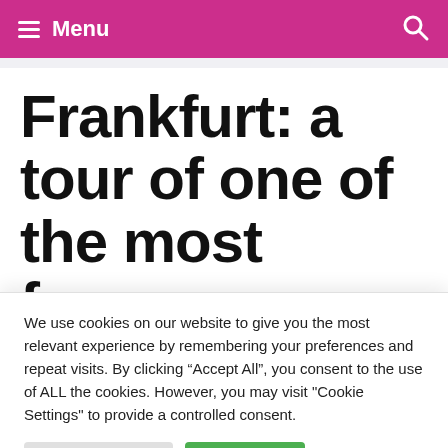Menu
Frankfurt: a tour of one of the most famous financial
We use cookies on our website to give you the most relevant experience by remembering your preferences and repeat visits. By clicking “Accept All”, you consent to the use of ALL the cookies. However, you may visit "Cookie Settings" to provide a controlled consent.
Cookie Settings | Accept All